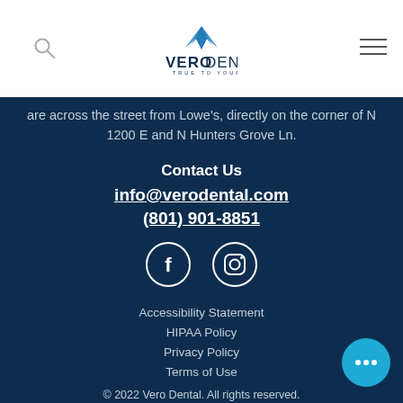[Figure (logo): Vero Dental logo with blue tooth icon and tagline 'TRUE TO YOUR SMILE']
are across the street from Lowe's, directly on the corner of N 1200 E and N Hunters Grove Ln.
Contact Us
info@verodental.com
(801) 901-8851
[Figure (illustration): Facebook and Instagram social media icons (circles with F and camera icons)]
Accessibility Statement
HIPAA Policy
Privacy Policy
Terms of Use
© 2022 Vero Dental. All rights reserved.